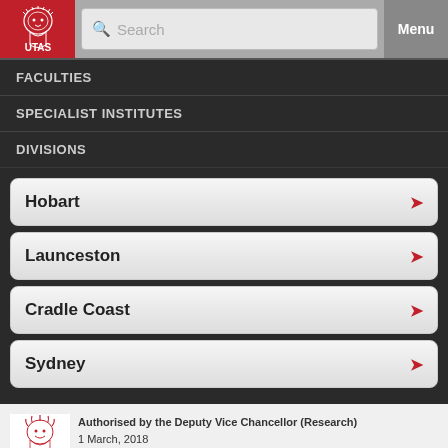[Figure (logo): UTAS University of Tasmania logo in white on red background]
FACULTIES
SPECIALIST INSTITUTES
DIVISIONS
Hobart
Launceston
Cradle Coast
Sydney
[Figure (logo): UTAS University of Tasmania footer logo]
Authorised by the Deputy Vice Chancellor (Research)
1 March, 2018
© University of Tasmania, Australia. ABN 30 764 374 782. CRICOS Provider Code 00586B
[Figure (other): Social media icons: Facebook, LinkedIn, Twitter, YouTube, Google+]